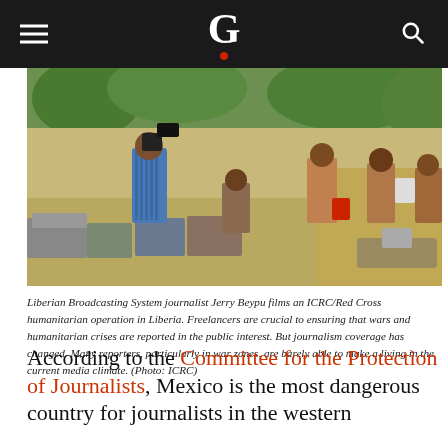G
[Figure (photo): Liberian Broadcasting System journalist Jerry Beypu films an ICRC/Red Cross humanitarian operation in Liberia. People are seen at an outdoor market/distribution point with various goods and supplies.]
Liberian Broadcasting System journalist Jerry Beypu films an ICRC/Red Cross humanitarian operation in Liberia. Freelancers are crucial to ensuring that wars and humanitarian crises are reported in the public interest. But journalism coverage has changed. Many reporters, particularly in war zones, are barely able to make a living in the current media climate. (Photo: ICRC)
According to the Committee for the Protection of Journalists, Mexico is the most dangerous country for journalists in the western hemisphere. Other countries in Mexico...